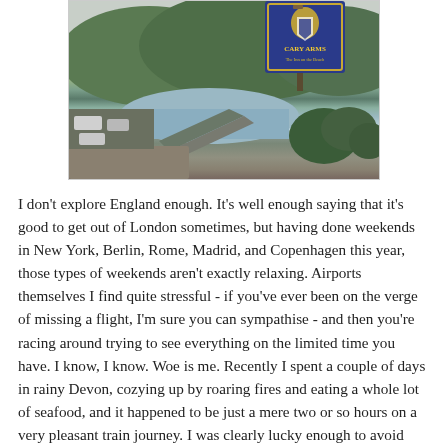[Figure (photo): Aerial view of a coastal inlet in Devon, England, with a car park, a beach walkway, green wooded hills, and a blue pub sign reading 'Cary Arms - The Inn on the Beach' in the top right corner.]
I don't explore England enough. It's well enough saying that it's good to get out of London sometimes, but having done weekends in New York, Berlin, Rome, Madrid, and Copenhagen this year, those types of weekends aren't exactly relaxing. Airports themselves I find quite stressful - if you've ever been on the verge of missing a flight, I'm sure you can sympathise - and then you're racing around trying to see everything on the limited time you have. I know, I know. Woe is me. Recently I spent a couple of days in rainy Devon, cozying up by roaring fires and eating a whole lot of seafood, and it happened to be just a mere two or so hours on a very pleasant train journey. I was clearly lucky enough to avoid Sunday replacement bus services.